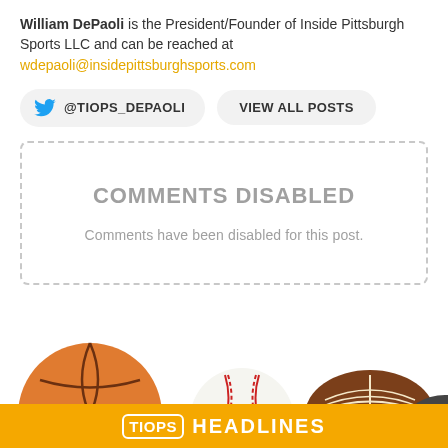William DePaoli is the President/Founder of Inside Pittsburgh Sports LLC and can be reached at wdepaoli@insidepittsburghsports.com
@TIOPS_DEPAOLI  VIEW ALL POSTS
COMMENTS DISABLED
Comments have been disabled for this post.
[Figure (illustration): Sports balls (basketball, baseball, football, hockey puck) arranged at the bottom of the page above a gold banner reading TIOPS HEADLINES]